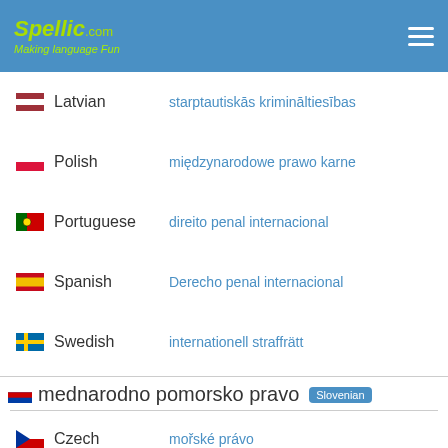Spellic.com - Making language fun
Latvian - starptautiskās krimināltiesības
Polish - międzynarodowe prawo karne
Portuguese - direito penal internacional
Spanish - Derecho penal internacional
Swedish - internationell straffrätt
mednarodno pomorsko pravo [Slovenian]
Czech - mořské právo
Danish - havret
Dutch - zeerecht
English - law of the sea